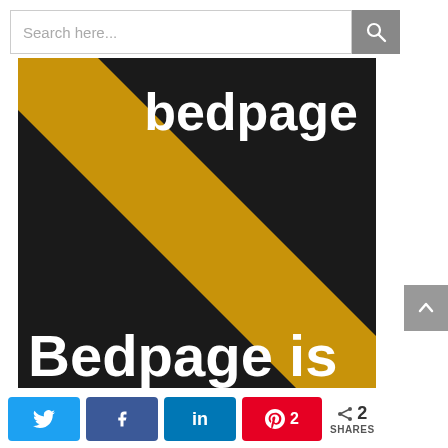[Figure (screenshot): Search bar with text 'Search here...' and a search icon button on the right]
[Figure (logo): Bedpage logo: dark background with diagonal yellow/gold stripe and white text 'bedpage' at top right, and 'Bedpage is' at bottom left in large bold white text]
[Figure (other): Social share bar at the bottom with Twitter, Facebook (k), LinkedIn (in), Pinterest (2 shares) buttons and total '2 SHARES' counter]